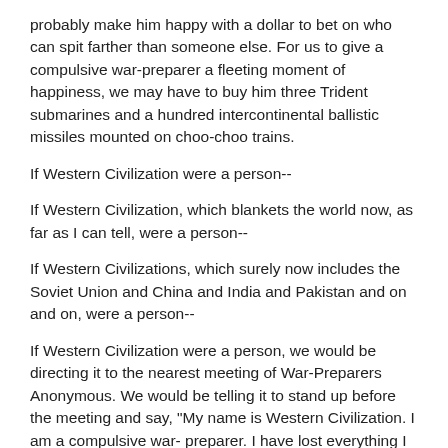probably make him happy with a dollar to bet on who can spit farther than someone else. For us to give a compulsive war-preparer a fleeting moment of happiness, we may have to buy him three Trident submarines and a hundred intercontinental ballistic missiles mounted on choo-choo trains.
If Western Civilization were a person--
If Western Civilization, which blankets the world now, as far as I can tell, were a person--
If Western Civilizations, which surely now includes the Soviet Union and China and India and Pakistan and on and on, were a person--
If Western Civilization were a person, we would be directing it to the nearest meeting of War-Preparers Anonymous. We would be telling it to stand up before the meeting and say, "My name is Western Civilization. I am a compulsive war- preparer. I have lost everything I ever cared about. I should have come here long ago. I first hit bottom in World War I." Western Civilization cannot be represented by a single person, of course, but a single explanation for the catastrophic course it has followed during